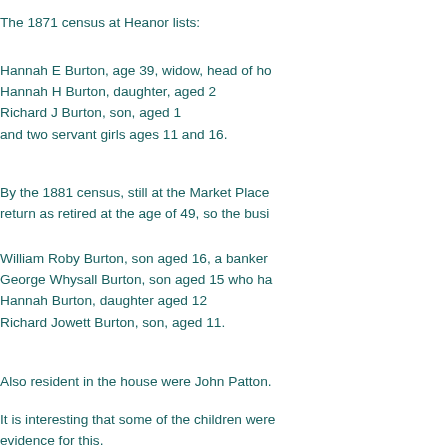The 1871 census at Heanor lists:
Hannah E Burton, age 39, widow, head of ho
Hannah H Burton, daughter, aged 2
Richard J Burton, son, aged 1
and two servant girls ages 11 and 16.
By the 1881 census, still at the Market Place
return as retired at the age of 49, so the busi
William Roby Burton, son aged 16, a banker
George Whysall Burton, son aged 15 who ha
Hannah Burton, daughter aged 12
Richard Jowett Burton, son, aged 11.
Also resident in the house were John Patton.
It is interesting that some of the children were
evidence for this.
By 1891, Richard was a student of theology a
recorded as visiting Joseph and Sarah Richa
to the curacy of Darley Dale by the Bishop of
Rev Burton took an active part in the Thoroto
Society's early years:
"On one of these expeditions a hind wheel of
daughter of Mr Hugh Browne of Aspley, who
some interest, and as they were married sho